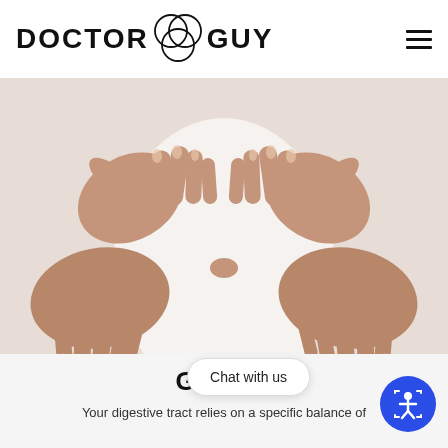DOCTOR GUY
[Figure (photo): Two hands forming a heart shape over a white background (stomach area), representing gut health]
Gut H...
Your digestive tract relies on a specific balance of
Chat with us